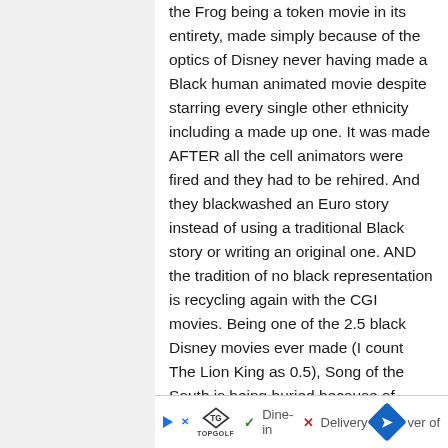the Frog being a token movie in its entirety, made simply because of the optics of Disney never having made a Black human animated movie despite starring every single other ethnicity including a made up one. It was made AFTER all the cell animators were fired and they had to be rehired. And they blackwashed an Euro story instead of using a traditional Black story or writing an original one. AND the tradition of no black representation is recycling again with the CGI movies. Being one of the 2.5 black Disney movies ever made (I count The Lion King as 0.5), Song of the South is being buried because of pressure from who knows who, fake progressives most likely, but it seems to be par for the course, a course that hasn't really changed even now.
[Figure (other): Advertisement banner for TopGolf showing logo, play button, dine-in checkmark, delivery X mark, navigation arrow icon, and partial text 'ver of']